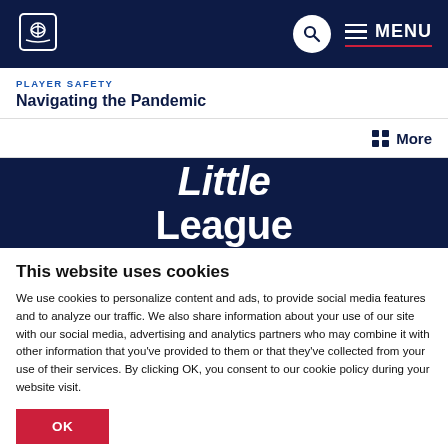Little League — Player Safety — Navigating the Pandemic
PLAYER SAFETY
Navigating the Pandemic
[Figure (screenshot): Little League website hero banner with white bold text 'Little League' on dark navy background]
This website uses cookies
We use cookies to personalize content and ads, to provide social media features and to analyze our traffic. We also share information about your use of our site with our social media, advertising and analytics partners who may combine it with other information that you've provided to them or that they've collected from your use of their services. By clicking OK, you consent to our cookie policy during your website visit.
OK